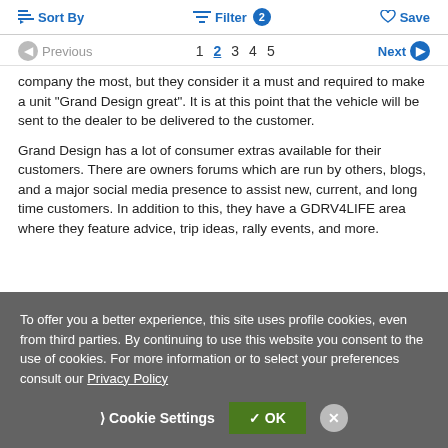Sort By   Filter 2   Save
Previous  1  2  3  4  5  Next
company the most, but they consider it a must and required to make a unit "Grand Design great". It is at this point that the vehicle will be sent to the dealer to be delivered to the customer.
Grand Design has a lot of consumer extras available for their customers. There are owners forums which are run by others, blogs, and a major social media presence to assist new, current, and long time customers. In addition to this, they have a GDRV4LIFE area where they feature advice, trip ideas, rally events, and more.
To offer you a better experience, this site uses profile cookies, even from third parties. By continuing to use this website you consent to the use of cookies. For more information or to select your preferences consult our Privacy Policy
Cookie Settings   OK